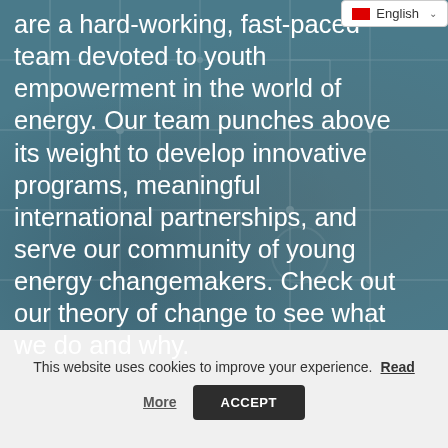[Figure (photo): Blue-tinted circuit board background image serving as hero section backdrop, with teal/steel-blue color overlay]
are a hard-working, fast-paced team devoted to youth empowerment in the world of energy. Our team punches above its weight to develop innovative programs, meaningful international partnerships, and serve our community of young energy changemakers. Check out our theory of change to see what we do and why.
This website uses cookies to improve your experience. Read More
ACCEPT